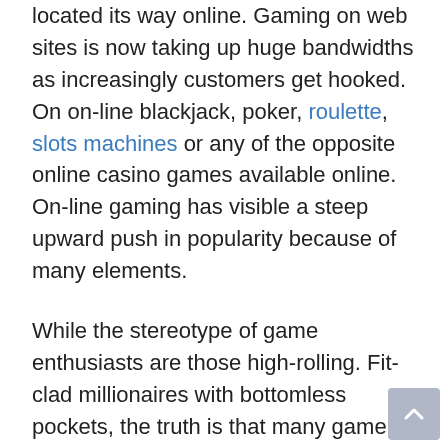located its way online. Gaming on web sites is now taking up huge bandwidths as increasingly customers get hooked. On on-line blackjack, poker, roulette, slots machines or any of the opposite online casino games available online. On-line gaming has visible a steep upward push in popularity because of many elements.
While the stereotype of game enthusiasts are those high-rolling. Fit-clad millionaires with bottomless pockets, the truth is that many gamers have best simply enough to revel in some proper rounds of play and a bit of entertainment at the side. Inside the face of the monetary downturn, many game enthusiasts who love online casino video games have determined themselves strapped for coins. Play